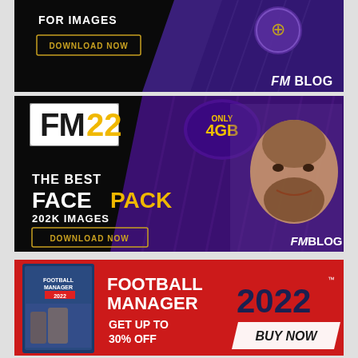[Figure (infographic): FM Blog banner 1: dark background with purple diagonal stripes, Real Madrid logo top right, 'FOR IMAGES' text, yellow 'DOWNLOAD NOW' button, 'FMBLOG' branding bottom right]
[Figure (infographic): FM22 Face Pack banner: dark/purple background, 'FM22' logo top left, 'ONLY 4GB' badge, footballer face photo right side, 'THE BEST FACE PACK 202K IMAGES' text, yellow 'DOWNLOAD NOW' button, 'FMBLOG' branding bottom right]
[Figure (infographic): Football Manager 2022 ad: red background, FM2022 box art left, 'FOOTBALL MANAGER 2022' large white/dark text, 'GET UP TO 30% OFF', white 'BUY NOW' parallelogram button]